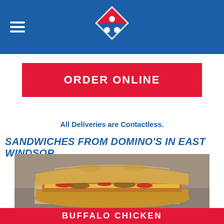Domino's Pizza - Header with logo and menu icon
ORDER ONLINE
All Deliveries are Contactless.
SANDWICHES FROM DOMINO'S IN EAST WINDSOR
[Figure (photo): Photo of a Domino's sub sandwich (Buffalo Chicken style) on parchment paper, showing golden baked bread with chicken, cheese, and peppers filling]
BUFFALO CHICKEN